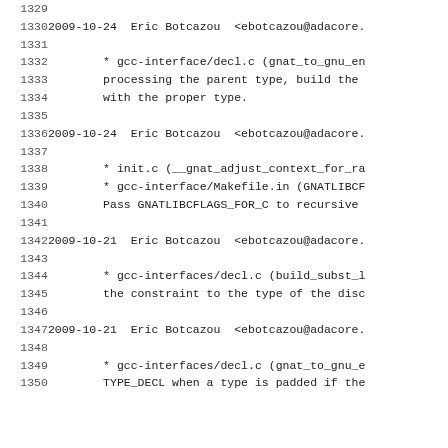Source code / changelog log lines 1329-1350
| line | content |
| --- | --- |
| 1329 |  |
| 1330 | 2009-10-24  Eric Botcazou  <ebotcazou@adacore. |
| 1331 |  |
| 1332 |         * gcc-interface/decl.c (gnat_to_gnu_en |
| 1333 |         processing the parent type, build the |
| 1334 |         with the proper type. |
| 1335 |  |
| 1336 | 2009-10-24  Eric Botcazou  <ebotcazou@adacore. |
| 1337 |  |
| 1338 |         * init.c (__gnat_adjust_context_for_ra |
| 1339 |         * gcc-interface/Makefile.in (GNATLIBCF |
| 1340 |         Pass GNATLIBCFLAGS_FOR_C to recursive |
| 1341 |  |
| 1342 | 2009-10-21  Eric Botcazou  <ebotcazou@adacore. |
| 1343 |  |
| 1344 |         * gcc-interfaces/decl.c (build_subst_l |
| 1345 |         the constraint to the type of the disc |
| 1346 |  |
| 1347 | 2009-10-21  Eric Botcazou  <ebotcazou@adacore. |
| 1348 |  |
| 1349 |         * gcc-interfaces/decl.c (gnat_to_gnu_e |
| 1350 |         TYPE_DECL when a type is padded if the |